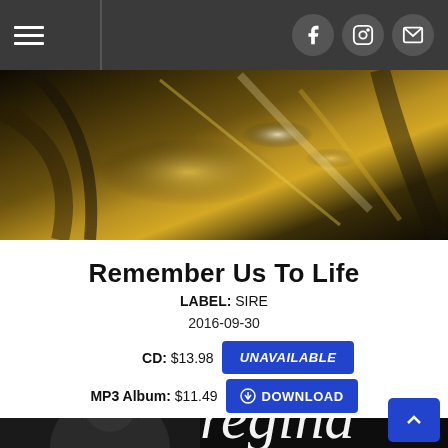Navigation header with hamburger menu and social icons (Facebook, Instagram, Email)
[Figure (photo): Abstract dark golden background image, partial album art with golden light streaks on dark background]
Remember Us To Life
LABEL: SIRE
2016-09-30
CD: $13.98  UNAVAILABLE
MP3 Album: $11.49  DOWNLOAD
[Figure (photo): Black and white album cover photo showing a woman looking up, with large script text 'regina' visible]